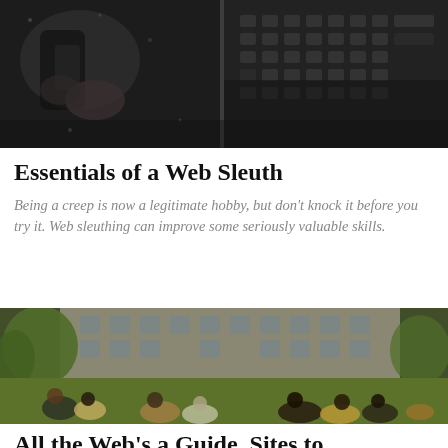[Figure (photo): Dark close-up photo split in two: left side shows hands holding a phone in dark lighting, right side shows a keyboard or grid pattern in dark tones.]
Essentials of a Web Sleuth
Being a creep is now a legitimate hobby, but don't knock it before you try it. Web sleuthing can improve some seriously valuable skills.
[Figure (photo): Outdoor daytime photo of a group of young women sitting on grass in front of a large old building, with trees and greenery visible.]
All the Web's a Guide, Sites to